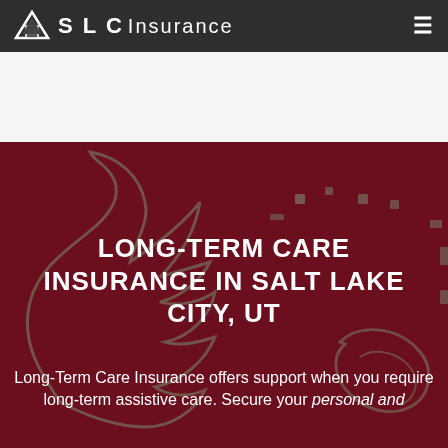SLC Insurance
LONG-TERM CARE INSURANCE IN SALT LAKE CITY, UT
Long-Term Care Insurance offers support when you require long-term assistive care. Secure your personal and